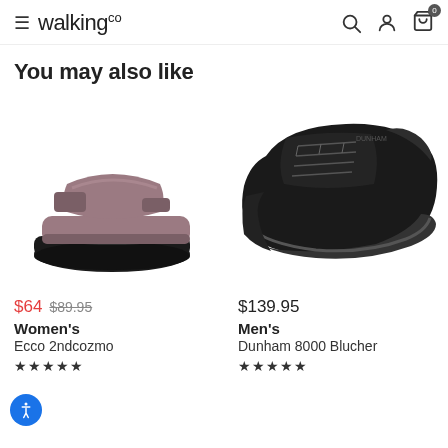walking co
You may also like
[Figure (photo): Women's mauve/rose slide sandal with two velcro straps and black sole on white background]
$64  $89.95
Women's
Ecco 2ndcozmo
[Figure (photo): Men's black lace-up walking shoe on white background, partially visible]
$139.95
Men's
Dunham 8000 Blucher